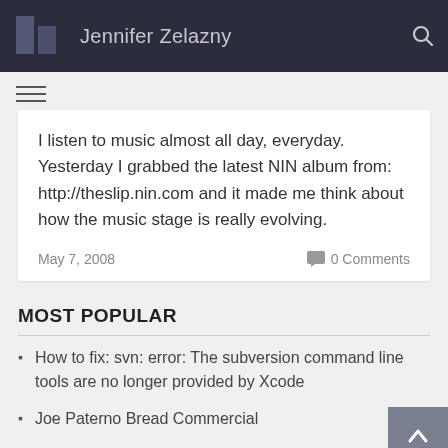Jennifer Zelazny
I listen to music almost all day, everyday. Yesterday I grabbed the latest NIN album from: http://theslip.nin.com and it made me think about how the music stage is really evolving.
May 7, 2008  0 Comments
MOST POPULAR
How to fix: svn: error: The subversion command line tools are no longer provided by Xcode
Joe Paterno Bread Commercial
HOWTO: Use RapidSVN for SVN